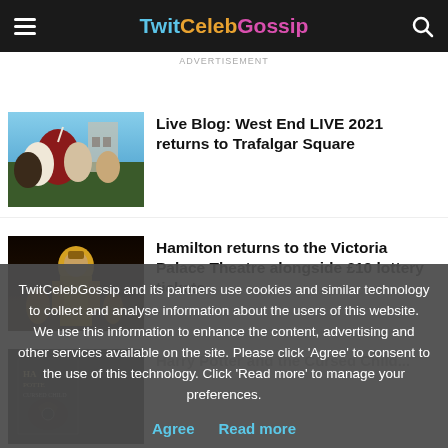TwitCelebGossip
Advertisement
[Figure (photo): Crowd at an outdoor concert in front of London landmark, person in red raising hand]
Live Blog: West End LIVE 2021 returns to Trafalgar Square
[Figure (photo): Hamilton musical performer on stage in gold costume with dramatic lighting]
Hamilton returns to the Victoria Palace Theatre alongside £10 lottery tickets
[Figure (photo): Harry Potter and the Cursed Child book/poster cover in dark tones]
TwitCelebGossip and its partners use cookies and similar technology to collect and analyse information about the users of this website. We use this information to enhance the content, advertising and other services available on the site. Please click 'Agree' to consent to the use of this technology. Click 'Read more' to manage your preferences.
Agree   Read more